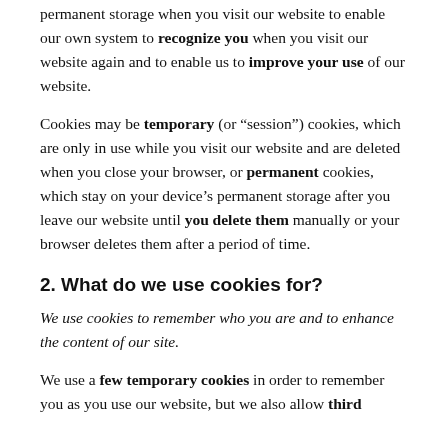permanent storage when you visit our website to enable our own system to recognize you when you visit our website again and to enable us to improve your use of our website.
Cookies may be temporary (or “session”) cookies, which are only in use while you visit our website and are deleted when you close your browser, or permanent cookies, which stay on your device’s permanent storage after you leave our website until you delete them manually or your browser deletes them after a period of time.
2. What do we use cookies for?
We use cookies to remember who you are and to enhance the content of our site.
We use a few temporary cookies in order to remember you as you use our website, but we also allow third